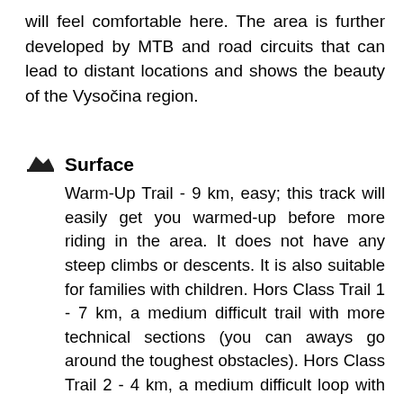will feel comfortable here. The area is further developed by MTB and road circuits that can lead to distant locations and shows the beauty of the Vysočina region.
Surface
Warm-Up Trail - 9 km, easy; this track will easily get you warmed-up before more riding in the area. It does not have any steep climbs or descents. It is also suitable for families with children. Hors Class Trail 1 - 7 km, a medium difficult trail with more technical sections (you can aways go around the toughest obstacles). Hors Class Trail 2 - 4 km, a medium difficult loop with similar traits to Hors Class Trail 1 World Cup Trail - 3 km, a difficult track that contains sections of the MTB XCO World Cup. Stony passages, closed bends, and swift alternations of descent and climb all await you